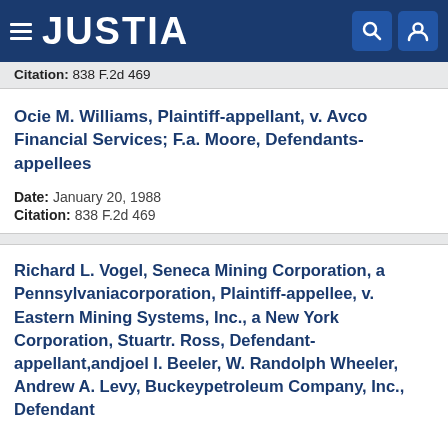JUSTIA
Citation: 838 F.2d 469
Ocie M. Williams, Plaintiff-appellant, v. Avco Financial Services; F.a. Moore, Defendants-appellees
Date: January 20, 1988
Citation: 838 F.2d 469
Richard L. Vogel, Seneca Mining Corporation, a Pennsylvaniacorporation, Plaintiff-appellee, v. Eastern Mining Systems, Inc., a New York Corporation, Stuartr. Ross, Defendant-appellant,andjoel I. Beeler, W. Randolph Wheeler, Andrew A. Levy, Buckeypetroleum Company, Inc., Defendant